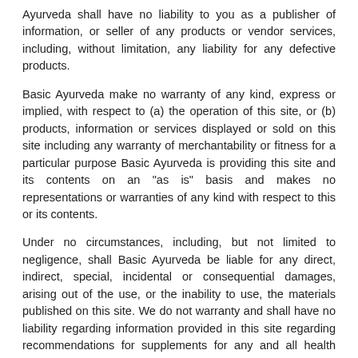Ayurveda shall have no liability to you as a publisher of information, or seller of any products or vendor services, including, without limitation, any liability for any defective products.
Basic Ayurveda make no warranty of any kind, express or implied, with respect to (a) the operation of this site, or (b) products, information or services displayed or sold on this site including any warranty of merchantability or fitness for a particular purpose Basic Ayurveda is providing this site and its contents on an "as is" basis and makes no representations or warranties of any kind with respect to this or its contents.
Under no circumstances, including, but not limited to negligence, shall Basic Ayurveda be liable for any direct, indirect, special, incidental or consequential damages, arising out of the use, or the inability to use, the materials published on this site. We do not warranty and shall have no liability regarding information provided in this site regarding recommendations for supplements for any and all health purposes. As is clearly stated, this information is provided solely as information for our customers to use when discussing a regimen with their healthcare practitioners.